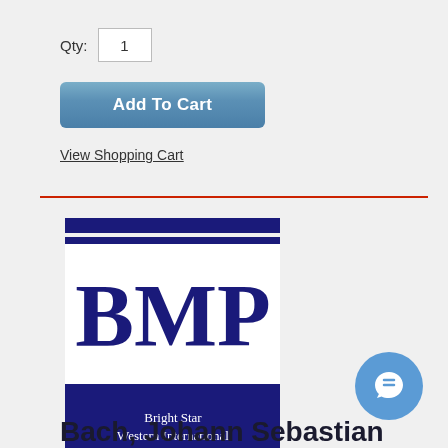Qty: 1
Add To Cart
View Shopping Cart
[Figure (logo): BMP Bright Star Western International logo — dark navy blue rectangular logo with horizontal stripe bands at top, large BMP letters in center, solid dark band, and white text reading Bright Star Western International on navy background at bottom]
Bach, Johann Sebastian